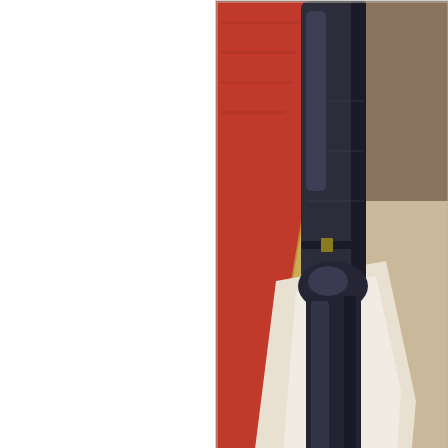[Figure (illustration): A painting showing the lower body and legs of a figure in dark armor/knight attire, with a red and gold draped fabric on the left side, set against a light background. The composition shows armored legs with a sabaton (armored foot). A signature is visible near the bottom left of the painting. The painting is framed in a light gray border.]
Pedro I of Castile and León, also cal...
disgrace, upon deserting the king's party died in prison (1369). Amid all these trou very reason of the order's existence, was greater part of its activities were employ consecrated to the defence of the Faith, w pitiable spectacle was that of the knights